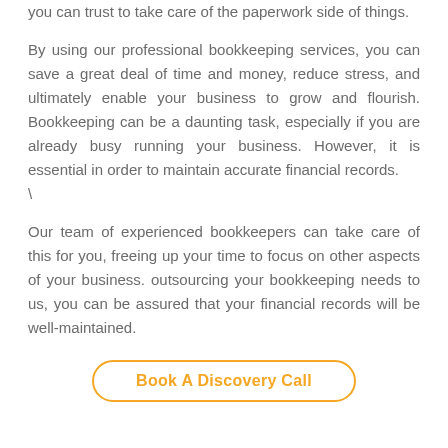you can trust to take care of the paperwork side of things.
By using our professional bookkeeping services, you can save a great deal of time and money, reduce stress, and ultimately enable your business to grow and flourish. Bookkeeping can be a daunting task, especially if you are already busy running your business. However, it is essential in order to maintain accurate financial records. \
Our team of experienced bookkeepers can take care of this for you, freeing up your time to focus on other aspects of your business. outsourcing your bookkeeping needs to us, you can be assured that your financial records will be well-maintained.
Book A Discovery Call